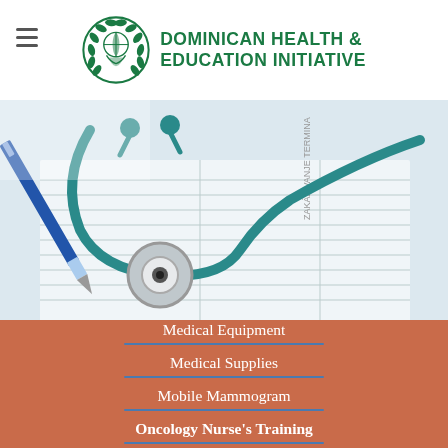Dominican Health & Education Initiative
[Figure (photo): Close-up photo of a stethoscope and blue pen resting on medical forms/documents]
Medical Equipment
Medical Supplies
Mobile Mammogram
Oncology Nurse's Training